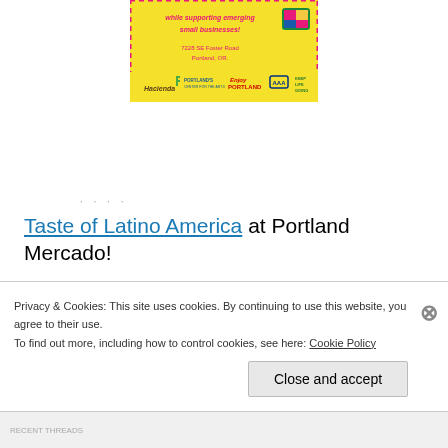[Figure (infographic): Yellow and pink decorative ad banner for Portland Mercado event. Text reads 'while supporting emerging small businesses!' with address '7228 SE Foster Road, Portland, OR.' Logos for Hacienda, Portland's Center for the Arts, Enjoy Portland, AAA, and Keep Life Going at bottom.]
Taste of Latino America at Portland Mercado!
“Support more than 20 Latino start-ups while taking part in the food, drinks, and cultural activities from
Privacy & Cookies: This site uses cookies. By continuing to use this website, you agree to their use.
To find out more, including how to control cookies, see here: Cookie Policy
Close and accept